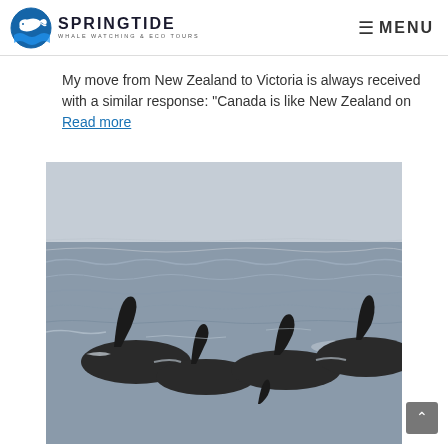SPRINGTIDE WHALE WATCHING & ECO TOURS — MENU
My move from New Zealand to Victoria is always received with a similar response: "Canada is like New Zealand on Read more
[Figure (photo): Black and white photograph of multiple orca whale dorsal fins breaking the ocean surface, with choppy grey water in the background.]